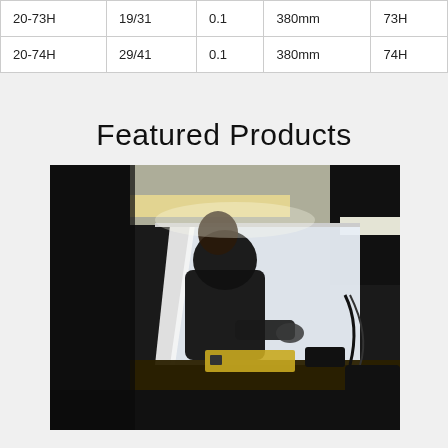| 20-73H | 19/31 | 0.1 | 380mm | 73H |
| 20-74H | 29/41 | 0.1 | 380mm | 74H |
Featured Products
[Figure (photo): A person in dark clothing working at a light inspection booth/lightbox on a workbench, surrounded by equipment and cables.]